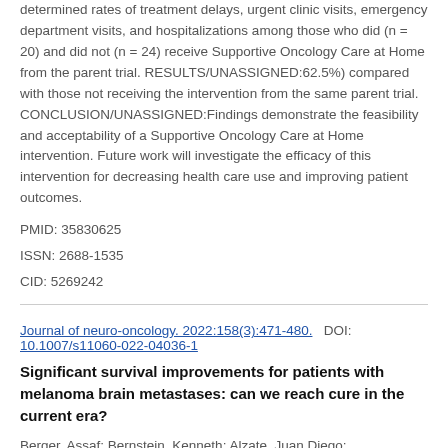determined rates of treatment delays, urgent clinic visits, emergency department visits, and hospitalizations among those who did (n = 20) and did not (n = 24) receive Supportive Oncology Care at Home from the parent trial. RESULTS/UNASSIGNED:62.5%) compared with those not receiving the intervention from the same parent trial. CONCLUSION/UNASSIGNED:Findings demonstrate the feasibility and acceptability of a Supportive Oncology Care at Home intervention. Future work will investigate the efficacy of this intervention for decreasing health care use and improving patient outcomes.
PMID: 35830625
ISSN: 2688-1535
CID: 5269242
Journal of neuro-oncology. 2022:158(3):471-480.   DOI: 10.1007/s11060-022-04036-1
Significant survival improvements for patients with melanoma brain metastases: can we reach cure in the current era?
Berger, Assaf; Bernstein, Kenneth; Alzate, Juan Diego;